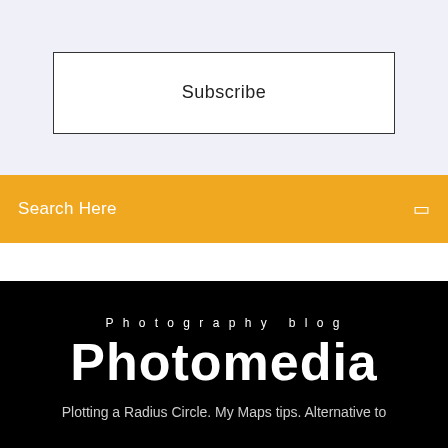Subscribe
Search Here
Photography blog
Photomedia
Plotting a Radius Circle. My Maps tips. Alternative to